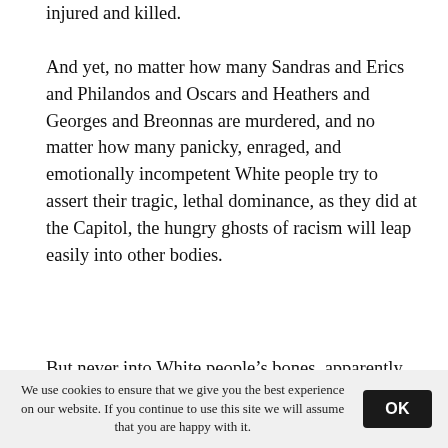injured and killed.
And yet, no matter how many Sandras and Erics and Philandos and Oscars and Heathers and Georges and Breonnas are murdered, and no matter how many panicky, enraged, and emotionally incompetent White people try to assert their tragic, lethal dominance, as they did at the Capitol, the hungry ghosts of racism will leap easily into other bodies.
But never into White people’s bones, apparently. Racism is a slippery, dangerous, murderous ghost.
Claiming your place in the trouble is necessary
We use cookies to ensure that we give you the best experience on our website. If you continue to use this site we will assume that you are happy with it.